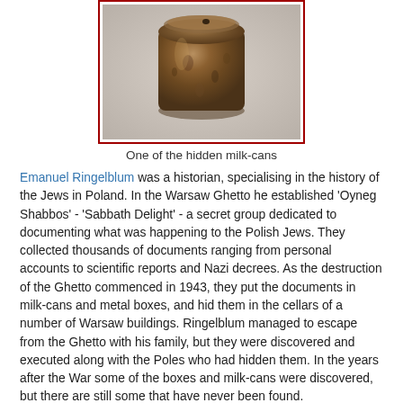[Figure (photo): A weathered, cylindrical metal milk-can with a dark brownish-rust color, photographed against a light grey background.]
One of the hidden milk-cans
Emanuel Ringelblum was a historian, specialising in the history of the Jews in Poland. In the Warsaw Ghetto he established 'Oyneg Shabbos' - 'Sabbath Delight' - a secret group dedicated to documenting what was happening to the Polish Jews. They collected thousands of documents ranging from personal accounts to scientific reports and Nazi decrees. As the destruction of the Ghetto commenced in 1943, they put the documents in milk-cans and metal boxes, and hid them in the cellars of a number of Warsaw buildings. Ringelblum managed to escape from the Ghetto with his family, but they were discovered and executed along with the Poles who had hidden them. In the years after the War some of the boxes and milk-cans were discovered, but there are still some that have never been found.
Ringelblum's diary notes were published in English as Diary